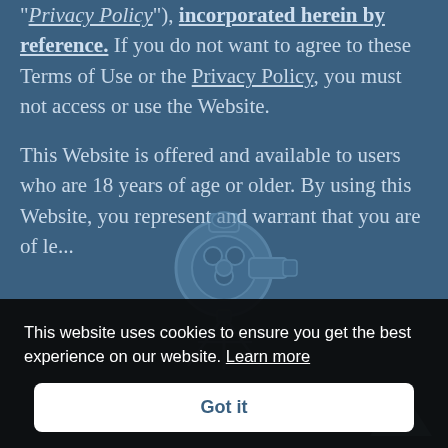"Privacy Policy"), incorporated herein by reference. If you do not want to agree to these Terms of Use or the Privacy Policy, you must not access or use the Website.

This Website is offered and available to users who are 18 years of age or older. By using this Website, you represent and warrant that you are of le... Loading...
[Figure (illustration): A faded movie camera / film projector icon overlaid on the text background, with 'Loading...' text beneath it.]
This website uses cookies to ensure you get the best experience on our website. Learn more
Got it